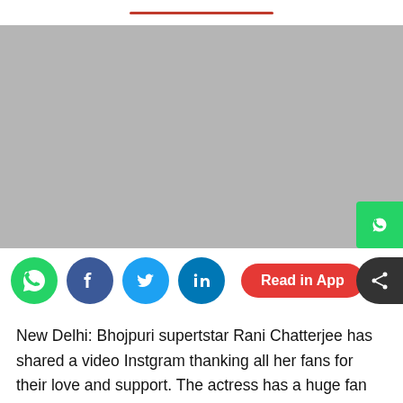[Figure (photo): Large grey placeholder image area for an article about Rani Chatterjee]
[Figure (infographic): Social sharing bar with WhatsApp, Facebook, Twitter, LinkedIn icons and a red 'Read in App' button]
New Delhi: Bhojpuri supertstar Rani Chatterjee has shared a video Instgram thanking all her fans for their love and support. The actress has a huge fan base on social media and her posts go viral seconds after they are shared.